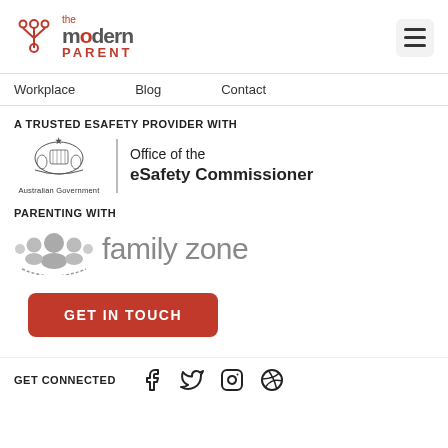[Figure (logo): The Modern Parent logo - red and grey text with circuit/branch icon]
[Figure (other): Hamburger menu icon (three horizontal lines) in grey rounded square]
Workplace   Blog   Contact
A TRUSTED ESAFETY PROVIDER WITH
[Figure (logo): Australian Government crest with text 'Australian Government' and vertical divider next to 'Office of the eSafety Commissioner' text]
PARENTING WITH
[Figure (logo): Family Zone logo - grey circular people icons and grey 'family zone' text]
GET IN TOUCH
GET CONNECTED
[Figure (other): Social media icons: Facebook, Twitter, Instagram, Pinterest]